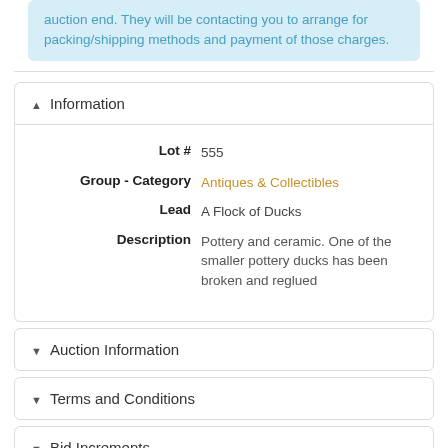auction end. They will be contacting you to arrange for packing/shipping methods and payment of those charges.
Information
| Field | Value |
| --- | --- |
| Lot # | 555 |
| Group - Category | Antiques & Collectibles |
| Lead | A Flock of Ducks |
| Description | Pottery and ceramic. One of the smaller pottery ducks has been broken and reglued |
Auction Information
Terms and Conditions
Bid Increments